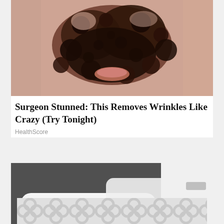[Figure (photo): Close-up photo of a person's face covered in a dark speckled face mask treatment (black and pink/skin-tone colors)]
Surgeon Stunned: This Removes Wrinkles Like Crazy (Try Tonight)
HealthScore
[Figure (photo): Photo of a person's feet wearing white perforated slip-on sneakers with gold trim, paired with white rolled-up trousers, on a dark pavement]
[Figure (other): Advertisement banner with grey/white repeating circular pattern]